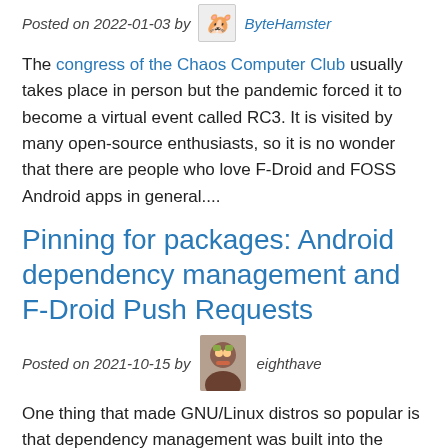Posted on 2022-01-03 by ByteHamster
The congress of the Chaos Computer Club usually takes place in person but the pandemic forced it to become a virtual event called RC3. It is visited by many open-source enthusiasts, so it is no wonder that there are people who love F-Droid and FOSS Android apps in general....
Pinning for packages: Android dependency management and F-Droid Push Requests
Posted on 2021-10-15 by eighthave
One thing that made GNU/Linux distros so popular is that dependency management was built into the operating system. In Debian, all software installed is packaged as a .deb, and its all installed from the Debian repositories.